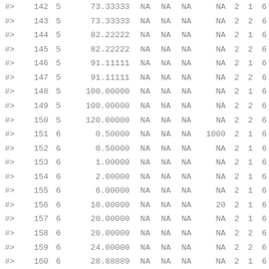| #> | row | col1 | col2 | col3 | col4 | col5 | col6 | col7 | col8 | col9 |
| --- | --- | --- | --- | --- | --- | --- | --- | --- | --- | --- |
| #> | 142 | 5 | 73.33333 | NA | NA | NA | NA | 2 | 1 | 6 |
| #> | 143 | 5 | 73.33333 | NA | NA | NA | NA | 2 | 2 | 6 |
| #> | 144 | 5 | 82.22222 | NA | NA | NA | NA | 2 | 1 | 6 |
| #> | 145 | 5 | 82.22222 | NA | NA | NA | NA | 2 | 2 | 6 |
| #> | 146 | 5 | 91.11111 | NA | NA | NA | NA | 2 | 1 | 6 |
| #> | 147 | 5 | 91.11111 | NA | NA | NA | NA | 2 | 2 | 6 |
| #> | 148 | 5 | 100.00000 | NA | NA | NA | NA | 2 | 1 | 6 |
| #> | 149 | 5 | 100.00000 | NA | NA | NA | NA | 2 | 2 | 6 |
| #> | 150 | 5 | 120.00000 | NA | NA | NA | NA | 2 | 2 | 6 |
| #> | 151 | 6 | 0.50000 | NA | NA | NA | 1000 | 2 | 1 | 6 |
| #> | 152 | 6 | 0.50000 | NA | NA | NA | NA | 2 | 1 | 6 |
| #> | 153 | 6 | 1.00000 | NA | NA | NA | NA | 2 | 1 | 6 |
| #> | 154 | 6 | 2.00000 | NA | NA | NA | NA | 2 | 1 | 6 |
| #> | 155 | 6 | 6.00000 | NA | NA | NA | NA | 2 | 1 | 6 |
| #> | 156 | 6 | 10.00000 | NA | NA | NA | 20 | 2 | 1 | 6 |
| #> | 157 | 6 | 20.00000 | NA | NA | NA | NA | 2 | 1 | 6 |
| #> | 158 | 6 | 20.00000 | NA | NA | NA | NA | 2 | 2 | 6 |
| #> | 159 | 6 | 24.00000 | NA | NA | NA | NA | 2 | 2 | 6 |
| #> | 160 | 6 | 28.88889 | NA | NA | NA | NA | 2 | 1 | 6 |
| #> | 161 | 6 | 28.88889 | NA | NA | NA | NA | 2 | 2 | 6 |
| #> | 162 | 6 | 36.00000 | NA | NA | NA | NA | 2 | 2 | 6 |
| #> | 163 | 6 | 37.77778 | NA | NA | NA | NA | 2 | 1 | 6 |
| #> | 164 | 6 | 37.77778 | NA | NA | NA | NA | 2 | 2 | 6 |
| #> | 165 | 6 | 46.66667 | NA | NA | NA | NA | 2 | 1 | 6 |
| #> | 166 | 6 | 46.66667 | NA | NA | NA | NA | 2 | 2 | 6 |